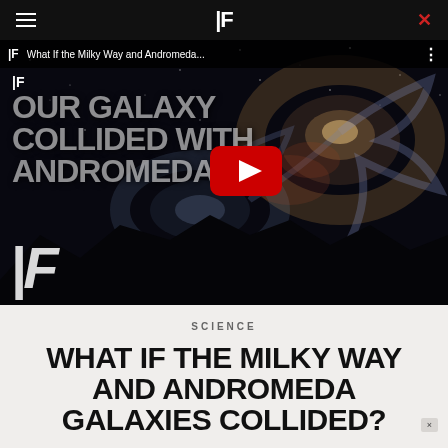IF
[Figure (screenshot): YouTube video thumbnail showing two colliding galaxies (Milky Way and Andromeda) against a dark space background with mountains silhouetted at the bottom. Overlay text reads 'OUR GALAXY COLLIDED WITH ANDROMEDA'. A red YouTube play button is centered on the image. The IF logo watermark appears in the lower left. A video bar at the top shows 'IF What If the Milky Way and Andromeda...']
SCIENCE
WHAT IF THE MILKY WAY AND ANDROMEDA GALAXIES COLLIDED?